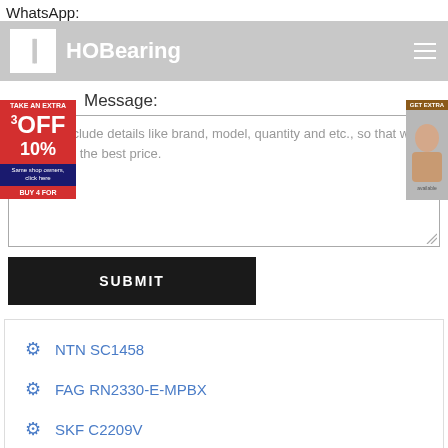WhatsApp:
[Figure (logo): HOBearing logo - grey navigation bar with white H logo and HOBearing text, hamburger menu icon on right]
Message:
Please include details like brand, model, quantity and etc., so that we can quote the best price.
SUBMIT
NTN SC1458
FAG RN2330-E-MPBX
SKF C2209V